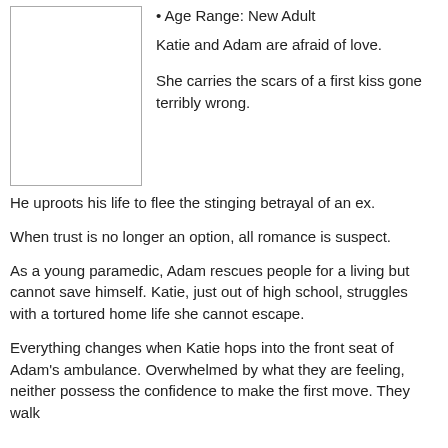[Figure (illustration): Book cover image placeholder — white rectangle with border]
• Age Range: New Adult
Katie and Adam are afraid of love.
She carries the scars of a first kiss gone terribly wrong.
He uproots his life to flee the stinging betrayal of an ex.
When trust is no longer an option, all romance is suspect.
As a young paramedic, Adam rescues people for a living but cannot save himself. Katie, just out of high school, struggles with a tortured home life she cannot escape.
Everything changes when Katie hops into the front seat of Adam's ambulance. Overwhelmed by what they are feeling, neither possess the confidence to make the first move. They walk